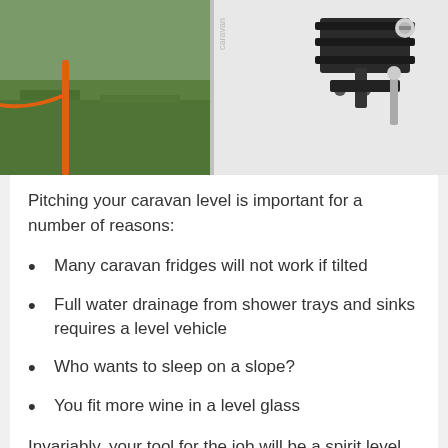[Figure (photo): Close-up photograph of a caravan exterior with a metal clamp/bracket hardware fitting visible on the right side, and an orange cable/stake in grass on the left side. White caravan body visible.]
Pitching your caravan level is important for a number of reasons:
Many caravan fridges will not work if tilted
Full water drainage from shower trays and sinks requires a level vehicle
Who wants to sleep on a slope?
You fit more wine in a level glass
Invariably, your tool for the job will be a spirit level and a trusty partner to shout “now” as the bubble hits the centre, but what if you are alone or it is too